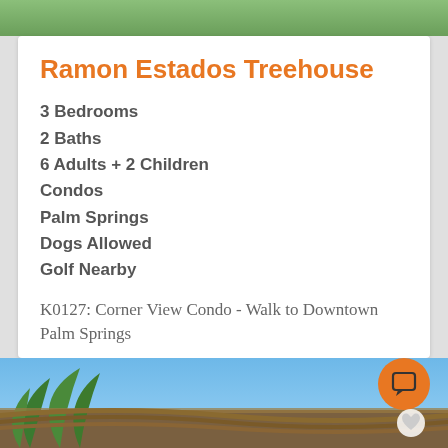Ramon Estados Treehouse
3 Bedrooms
2 Baths
6 Adults + 2 Children
Condos
Palm Springs
Dogs Allowed
Golf Nearby
K0127: Corner View Condo - Walk to Downtown Palm Springs
★★★★★(5.0 Average)
VIEW DETAILS
[Figure (photo): Outdoor tropical scene with palm trees and thatched roof structure visible at bottom of page]